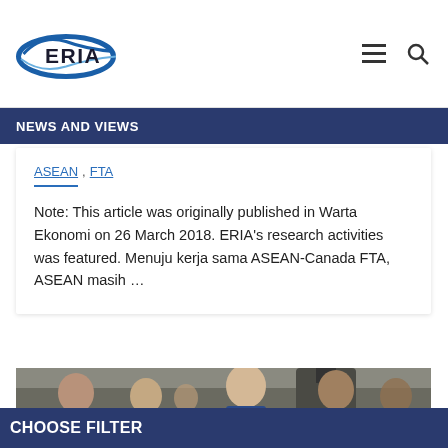[Figure (logo): ERIA logo — blue elliptical swoosh with ERIA text]
NEWS AND VIEWS
ASEAN , FTA
Note: This article was originally published in Warta Ekonomi on 26 March 2018. ERIA's research activities was featured. Menuju kerja sama ASEAN-Canada FTA, ASEAN masih …
[Figure (photo): Group of people including a man in a blue suit with a red tie and poppy lapel pin, with camera crew in background]
CHOOSE FILTER